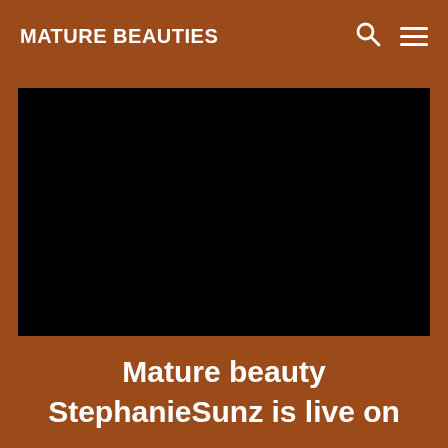MATURE BEAUTIES
[Figure (photo): Black rectangular image placeholder for a video or photo content]
Mature beauty StephanieSunz is live on